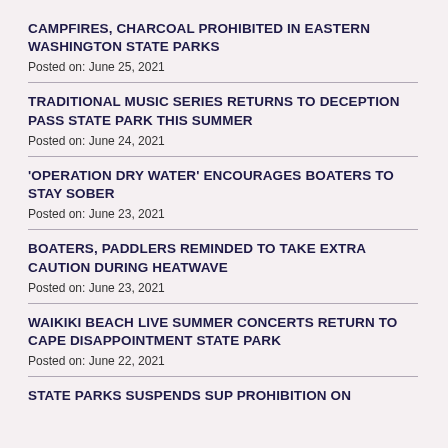CAMPFIRES, CHARCOAL PROHIBITED IN EASTERN WASHINGTON STATE PARKS
Posted on: June 25, 2021
TRADITIONAL MUSIC SERIES RETURNS TO DECEPTION PASS STATE PARK THIS SUMMER
Posted on: June 24, 2021
'OPERATION DRY WATER' ENCOURAGES BOATERS TO STAY SOBER
Posted on: June 23, 2021
BOATERS, PADDLERS REMINDED TO TAKE EXTRA CAUTION DURING HEATWAVE
Posted on: June 23, 2021
WAIKIKI BEACH LIVE SUMMER CONCERTS RETURN TO CAPE DISAPPOINTMENT STATE PARK
Posted on: June 22, 2021
STATE PARKS SUSPENDS SUP PROHIBITION ON